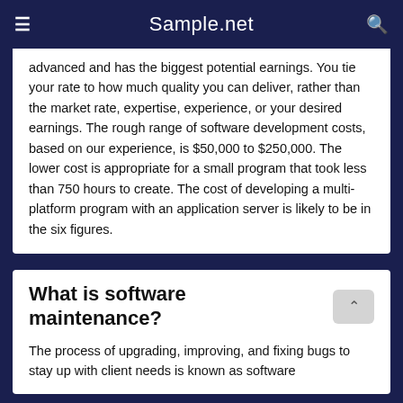Sample.net
advanced and has the biggest potential earnings. You tie your rate to how much quality you can deliver, rather than the market rate, expertise, experience, or your desired earnings. The rough range of software development costs, based on our experience, is $50,000 to $250,000. The lower cost is appropriate for a small program that took less than 750 hours to create. The cost of developing a multi-platform program with an application server is likely to be in the six figures.
What is software maintenance?
The process of upgrading, improving, and fixing bugs to stay up with client needs is known as software